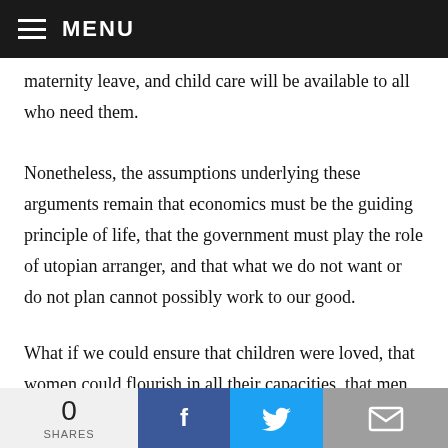MENU
maternity leave, and child care will be available to all who need them.
Nonetheless, the assumptions underlying these arguments remain that economics must be the guiding principle of life, that the government must play the role of utopian arranger, and that what we do not want or do not plan cannot possibly work to our good.
What if we could ensure that children were loved, that women could flourish in all their capacities, that men
0 SHARES